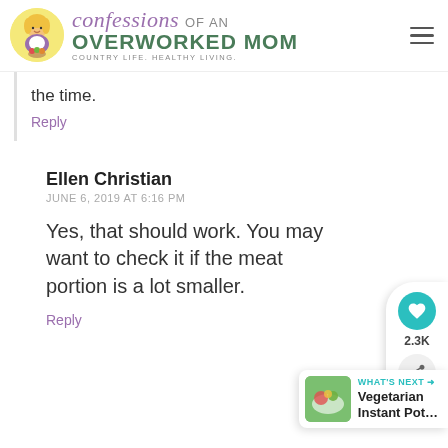[Figure (logo): Confessions of an Overworked Mom blog logo with cartoon mom illustration, script and bold text, tagline 'Country Life. Healthy Living.']
the time.
Reply
Ellen Christian
JUNE 6, 2019 AT 6:16 PM
Yes, that should work. You may want to check it if the meat portion is a lot smaller.
Reply